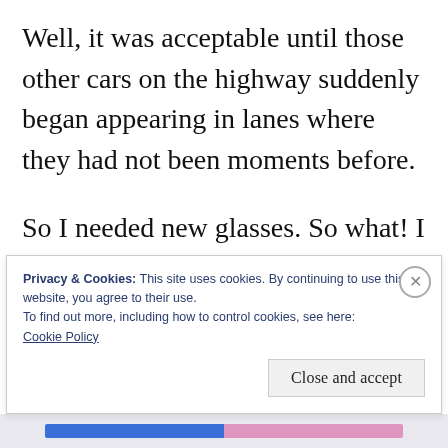Well, it was acceptable until those other cars on the highway suddenly began appearing in lanes where they had not been moments before.
So I needed new glasses. So what! I would get them. Some day. In the mean time, I'll just drive a little slower. You've wanted me
Privacy & Cookies: This site uses cookies. By continuing to use this website, you agree to their use.
To find out more, including how to control cookies, see here:
Cookie Policy
Close and accept